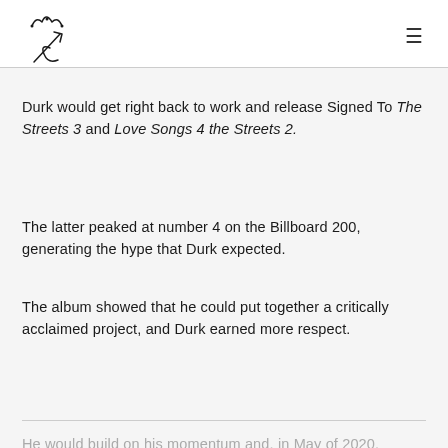[Logo: stylized crown and S with arrow] [Hamburger menu icon]
Durk would get right back to work and release Signed To The Streets 3 and Love Songs 4 the Streets 2.
The latter peaked at number 4 on the Billboard 200, generating the hype that Durk expected.
The album showed that he could put together a critically acclaimed project, and Durk earned more respect.
He would build on his momentum and, in May of 2020, released his second highest-charting